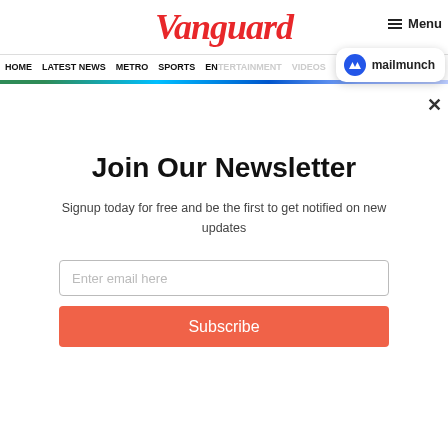Vanguard
[Figure (logo): Mailmunch logo badge with blue M icon and text 'mailmunch']
Join Our Newsletter
Signup today for free and be the first to get notified on new updates
[Figure (screenshot): Email input field with placeholder 'Enter email here']
Subscribe